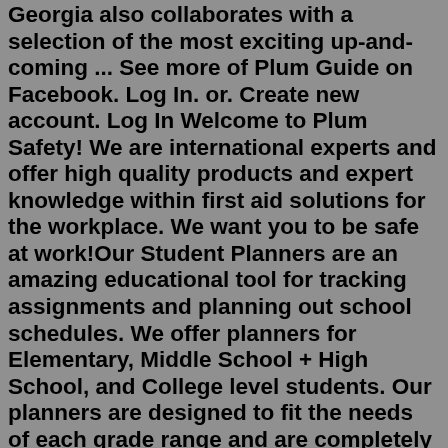Georgia also collaborates with a selection of the most exciting up-and-coming ... See more of Plum Guide on Facebook. Log In. or. Create new account. Log In Welcome to Plum Safety! We are international experts and offer high quality products and expert knowledge within first aid solutions for the workplace. We want you to be safe at work!Our Student Planners are an amazing educational tool for tracking assignments and planning out school schedules. We offer planners for Elementary, Middle School + High School, and College level students. Our planners are designed to fit the needs of each grade range and are completely customizable. Students can choose a layout that fits their ... Plum Guide | 10,387 followers on LinkedIn. We vet every holiday home in a destination and accept only the top 3%. In doing so, Plum Guide is establishing the first globally recognised mark of quality...Staying with The Plum Guide felt like being in the sort of chic home you wished you owned and far from standard, impersonal holiday rentals. Airbnb should watch its back. The